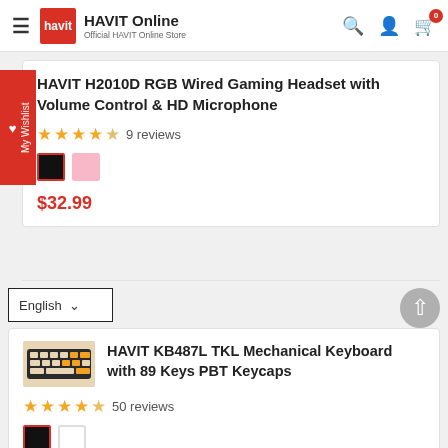HAVIT Online — Official HAVIT Online Store
HAVIT H2010D RGB Wired Gaming Headset with Volume Control & HD Microphone
9 reviews
$32.99
English
HAVIT KB487L TKL Mechanical Keyboard with 89 Keys PBT Keycaps
50 reviews
From $52.99